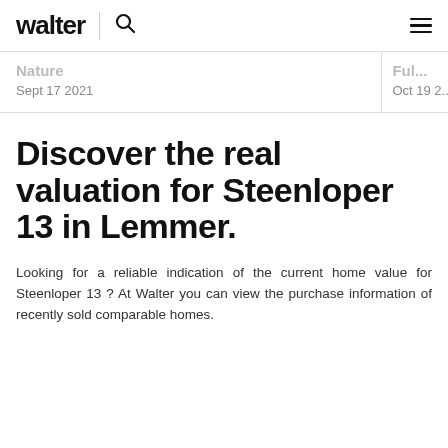walter
Nature
Sept 17 2021
Ful...
Oct 19 2...
Discover the real valuation for Steenloper 13 in Lemmer.
Looking for a reliable indication of the current home value for Steenloper 13 ? At Walter you can view the purchase information of recently sold comparable homes.